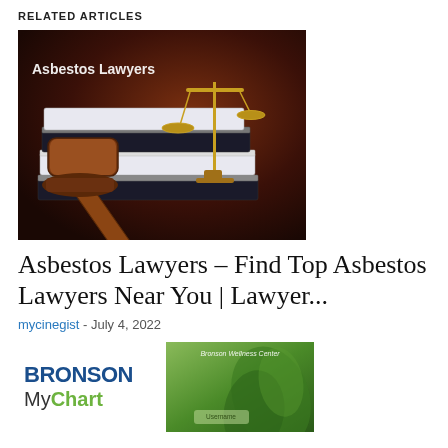RELATED ARTICLES
[Figure (photo): Photo of a wooden gavel resting on stacked law books with a brass scales of justice in the background, with text 'Asbestos Lawyers' overlaid in white]
Asbestos Lawyers – Find Top Asbestos Lawyers Near You | Lawyer...
mycinegist - July 4, 2022
[Figure (logo): BRONSON MyChart logo with blue BRONSON text and green MyChart text]
[Figure (photo): Bronson Wellness Center image with green abstract background and login text]